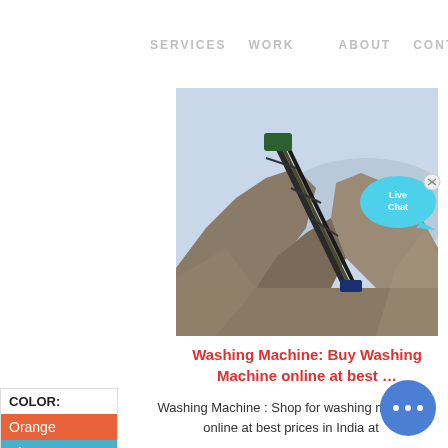SERVICES   WORK        ABOUT   CONTACT
[Figure (photo): Large pile of gravel/sand with a conveyor belt machine on a construction or mining site]
Washing Machine: Buy Washing Machine online at best ...
COLOR:
Orange
Blue
Yellow
Washing Machine : Shop for washing machine online at best prices in India at
[Figure (illustration): Live Chat speech bubble icon with cyan color and close button]
[Figure (illustration): Blue circular chat button with three dots]